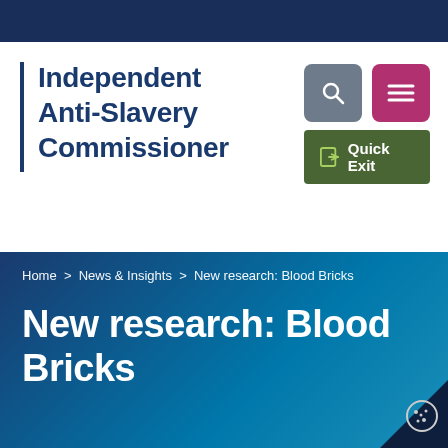Independent Anti-Slavery Commissioner
Home > News & Insights > New research: Blood Bricks
New research: Blood Bricks